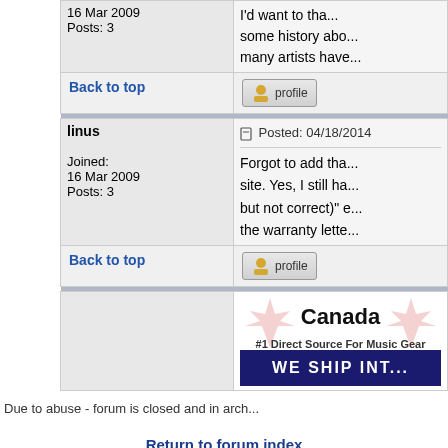| 16 Mar 2009
Posts: 3 | I'd want to tha...
some history abo...
many artists have... |
| Back to top | [profile button] |
| linus

Joined:
16 Mar 2009
Posts: 3 | Posted: 04/18/2014

Forgot to add tha...
site. Yes, I still ha...
but not correct)" e...
the warranty lette... |
| Back to top | [profile button] |
[Figure (screenshot): Canada music gear advertisement banner - '#1 Direct Source For Music Gear' with maple leaf graphics and 'WE SHIP INT...' text on dark blue background]
Due to abuse - forum is closed and in arch...
Return to forum index